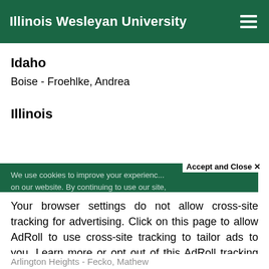Illinois Wesleyan University
Idaho
Boise - Froehlke, Andrea
Illinois
We use cookies to improve your experience on our website. By continuing to use our site,
Accept and Close ✕
Your browser settings do not allow cross-site tracking for advertising. Click on this page to allow AdRoll to use cross-site tracking to tailor ads to you. Learn more or opt out of this AdRoll tracking by clicking here. This message only appears once.
Arlington Heights - Fecko, Mathew